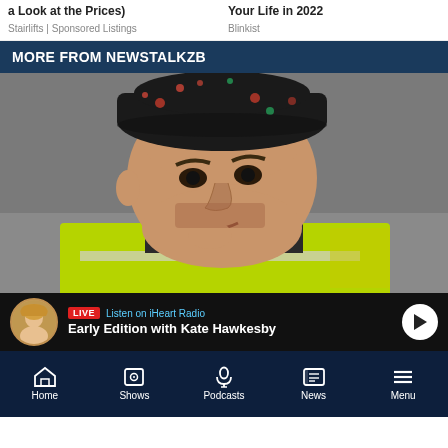a Look at the Prices)
Stairlifts | Sponsored Listings
Your Life in 2022
Blinkist
MORE FROM NEWSTALKZB
[Figure (photo): Close-up photo of a man wearing a dark floral bucket hat and a high-visibility yellow vest, looking upward with a serious expression]
LIVE  Listen on iHeart Radio
Early Edition with Kate Hawkesby
Home  Shows  Podcasts  News  Menu